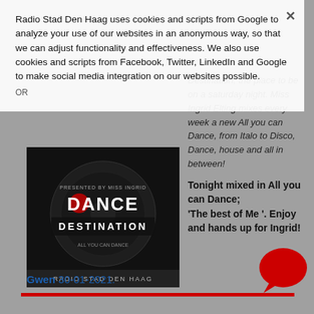Radio Stad Den Haag uses cookies and scripts from Google to analyze your use of our websites in an anonymous way, so that we can adjust functionality and effectiveness. We also use cookies and scripts from Facebook, Twitter, LinkedIn and Google to make social media integration on our websites possible.
Destination, the place to be on a saturday night. Miss Ingrid Elting mixes every week a new All you can Dance, from Italo to Disco, Dance, house and all in between!
Tonight mixed in All you can Dance; 'The best of Me '. Enjoy and hands up for Ingrid!
[Figure (photo): Dance Destination album art with 'DANCE DESTINATION' text and 'RADIO STAD DEN HAAG' at bottom, dark background with vinyl record imagery]
Gwen 30-01-2021.
[Figure (illustration): Red speech bubble icon in bottom right corner]